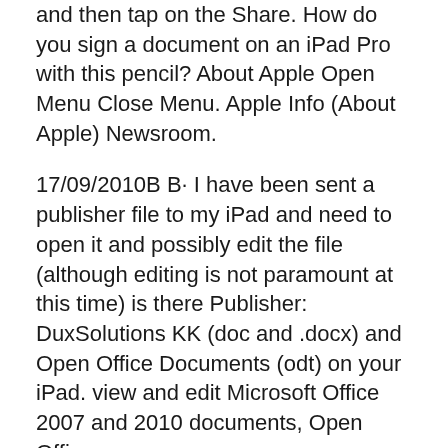and then tap on the ️Share. How do you sign a document on an iPad Pro with this pencil? About Apple Open Menu Close Menu. Apple Info (About Apple) Newsroom.
17/09/2010B B· I have been sent a publisher file to my iPad and need to open it and possibly edit the file (although editing is not paramount at this time) is there Publisher: DuxSolutions KK (doc and .docx) and Open Office Documents (odt) on your iPad. view and edit Microsoft Office 2007 and 2010 documents, Open Office
How to open a publisher document on a Macintosh computer. SEO Kansas City